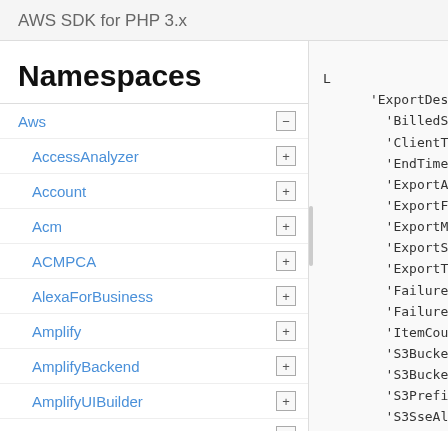AWS SDK for PHP 3.x
Namespaces
Aws
AccessAnalyzer
Account
Acm
ACMPCA
AlexaForBusiness
Amplify
AmplifyBackend
AmplifyUIBuilder
Api
ApiGateway
ApiGatewayManagementApi
[
    'ExportDescri
        'BilledSi
        'ClientTo
        'EndTime'
        'ExportAr
        'ExportFo
        'ExportMa
        'ExportSt
        'ExportTi
        'FailureC
        'FailureM
        'ItemCoun
        'S3Bucket
        'S3Bucket
        'S3Prefix
        'S3SseAlg
        'S3SseKms
        'StartTim
        'TableArn
        'TableId'
],